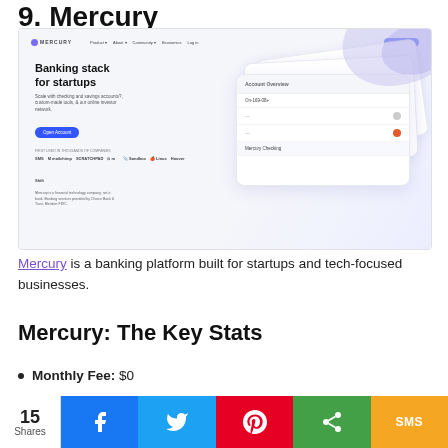9. Mercury
[Figure (screenshot): Screenshot of Mercury banking platform website showing 'Banking stack for startups' headline, navigation bar, hero text, and floating UI card mockups]
Mercury is a banking platform built for startups and tech-focused businesses.
Mercury: The Key Stats
Monthly Fee: $0